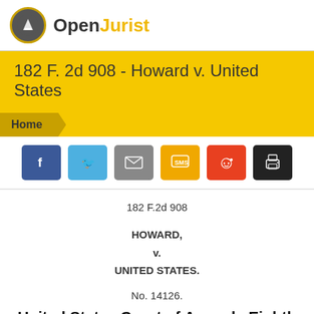OpenJurist
182 F. 2d 908 - Howard v. United States
Home
[Figure (other): Social sharing buttons: Facebook, Twitter, Email, SMS, Reddit, Print]
182 F.2d 908
HOWARD,
v.
UNITED STATES.
No. 14126.
United States Court of Appeals Eighth Circuit.
June 16, 1950.